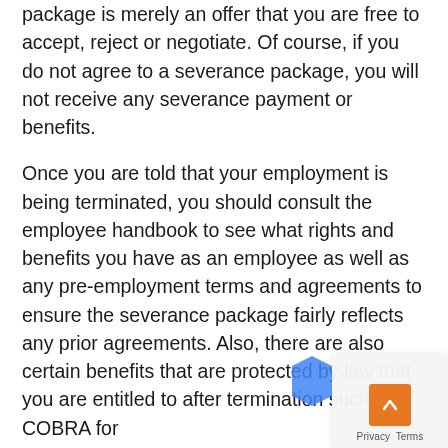package is merely an offer that you are free to accept, reject or negotiate. Of course, if you do not agree to a severance package, you will not receive any severance payment or benefits.
Once you are told that your employment is being terminated, you should consult the employee handbook to see what rights and benefits you have as an employee as well as any pre-employment terms and agreements to ensure the severance package fairly reflects any prior agreements. Also, there are also certain benefits that are protected by law that you are entitled to after termination such as COBRA for